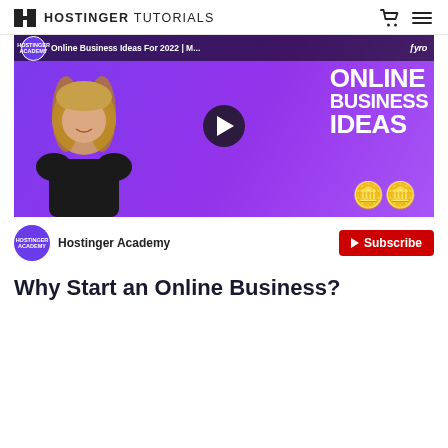HOSTINGER TUTORIALS
[Figure (screenshot): YouTube video thumbnail showing a woman and text 'Online Business Ideas For 2022 | M...' with purple background and 'ONLINE BUSINESS IDEAS' text, with a play button overlay. Hostinger Academy channel badge visible.]
Hostinger Academy
Subscribe
Why Start an Online Business?